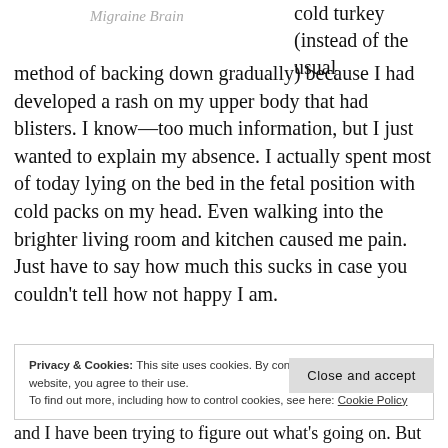Migraine Brain
cold turkey (instead of the usual method of backing down gradually) because I had developed a rash on my upper body that had blisters. I know—too much information, but I just wanted to explain my absence. I actually spent most of today lying on the bed in the fetal position with cold packs on my head. Even walking into the brighter living room and kitchen caused me pain. Just have to say how much this sucks in case you couldn't tell how not happy I am.
Privacy & Cookies: This site uses cookies. By continuing to use this website, you agree to their use.
To find out more, including how to control cookies, see here: Cookie Policy
Close and accept
and I have been trying to figure out what's going on. But